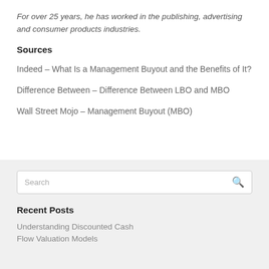For over 25 years, he has worked in the publishing, advertising and consumer products industries.
Sources
Indeed – What Is a Management Buyout and the Benefits of It?
Difference Between – Difference Between LBO and MBO
Wall Street Mojo – Management Buyout (MBO)
Recent Posts
Understanding Discounted Cash Flow Valuation Models